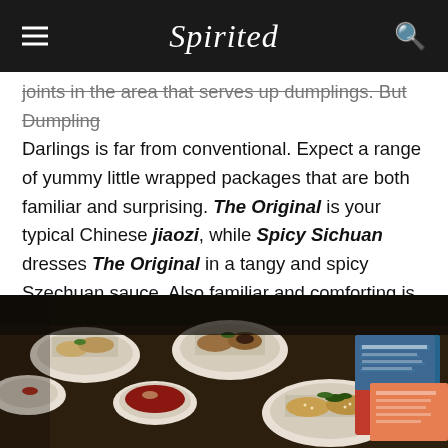Spirited
joints in the area that serves up dumplings. But Dumpling Darlings is far from conventional. Expect a range of yummy little wrapped packages that are both familiar and surprising. The Original is your typical Chinese jiaozi, while Spicy Sichuan dresses The Original in a tangy and spicy Szechuan sauce. Also familiar and comforting is the Veggie Mandu, a vegetarian take on Korean dumplings.
[Figure (photo): Overhead photo of multiple white ceramic bowls containing dumplings with garnishes and a dipping sauce, arranged on a dark wooden table with a menu visible in the background.]